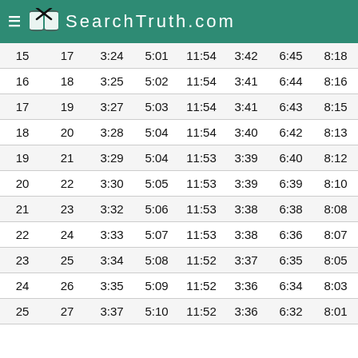SearchTruth.com
| 15 | 17 | 3:24 | 5:01 | 11:54 | 3:42 | 6:45 | 8:18 |
| 16 | 18 | 3:25 | 5:02 | 11:54 | 3:41 | 6:44 | 8:16 |
| 17 | 19 | 3:27 | 5:03 | 11:54 | 3:41 | 6:43 | 8:15 |
| 18 | 20 | 3:28 | 5:04 | 11:54 | 3:40 | 6:42 | 8:13 |
| 19 | 21 | 3:29 | 5:04 | 11:53 | 3:39 | 6:40 | 8:12 |
| 20 | 22 | 3:30 | 5:05 | 11:53 | 3:39 | 6:39 | 8:10 |
| 21 | 23 | 3:32 | 5:06 | 11:53 | 3:38 | 6:38 | 8:08 |
| 22 | 24 | 3:33 | 5:07 | 11:53 | 3:38 | 6:36 | 8:07 |
| 23 | 25 | 3:34 | 5:08 | 11:52 | 3:37 | 6:35 | 8:05 |
| 24 | 26 | 3:35 | 5:09 | 11:52 | 3:36 | 6:34 | 8:03 |
| 25 | 27 | 3:37 | 5:10 | 11:52 | 3:36 | 6:32 | 8:01 |